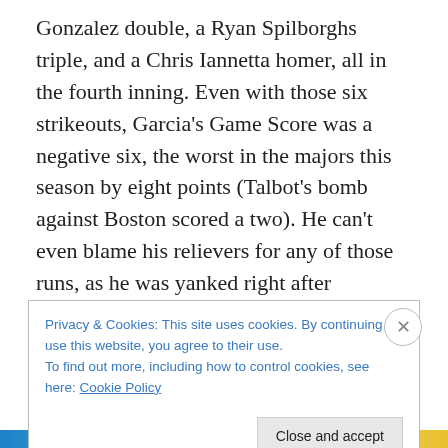Gonzalez double, a Ryan Spilborghs triple, and a Chris Iannetta homer, all in the fourth inning. Even with those six strikeouts, Garcia's Game Score was a negative six, the worst in the majors this season by eight points (Talbot's bomb against Boston scored a two). He can't even blame his relievers for any of those runs, as he was yanked right after Iannetta's bomb, leaving deposed closer Ryan Franklin with no mess to clean up.

It may seem shocking that Garcia could be so good for ten starts, never walking more than two or giving up more than
Privacy & Cookies: This site uses cookies. By continuing to use this website, you agree to their use.
To find out more, including how to control cookies, see here: Cookie Policy
Close and accept